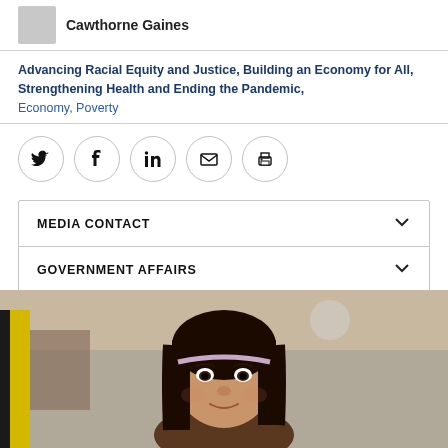Cawthorne Gaines
Advancing Racial Equity and Justice, Building an Economy for All, Strengthening Health and Ending the Pandemic, Economy, Poverty
[Figure (infographic): Social sharing icons: Twitter, Facebook, LinkedIn, Email, Print — each inside a circle border]
MEDIA CONTACT
GOVERNMENT AFFAIRS
[Figure (photo): Photo of a young girl with dark hair and a headband, looking at the camera, outdoor background]